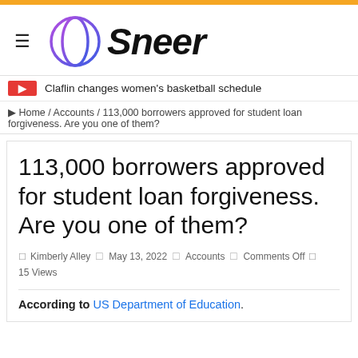Sneer
Claflin changes women's basketball schedule
Home / Accounts / 113,000 borrowers approved for student loan forgiveness. Are you one of them?
113,000 borrowers approved for student loan forgiveness. Are you one of them?
Kimberly Alley   May 13, 2022   Accounts   Comments Off   15 Views
According to US Department of Education.